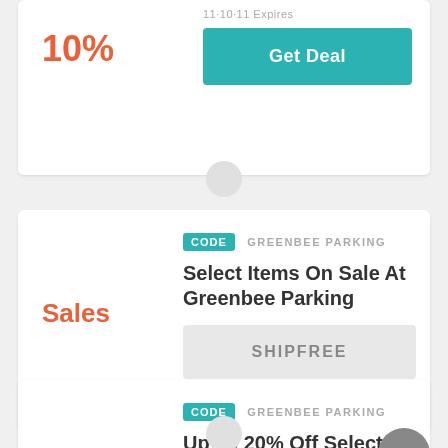Expires
Get Deal
Sales
CODE  GREENBEE PARKING
Select Items On Sale At Greenbee Parking
SHIPFREE
20%
CODE  GREENBEE PARKING
Up To 20% Off Selected Goods
SUMMER20